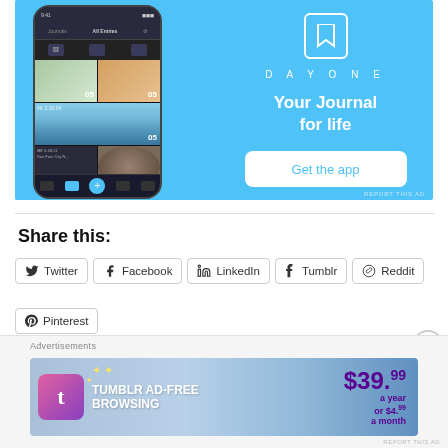[Figure (screenshot): DayOne journal app advertisement banner. Left side shows a smartphone with the DayOne app interface displaying photo journal entries. Right side has a light blue background with DayOne logo (bookmark icon), text 'DAYONE', tagline 'Your Journal for life', and a white button saying 'Get the app'. Small 'REPORT THIS AD' text at bottom right.]
Share this:
Twitter
Facebook
LinkedIn
Tumblr
Reddit
Pinterest
Advertisements
[Figure (screenshot): Tumblr ad-free browsing advertisement. Blue gradient background with Tumblr logo (stylized T in pink/purple), text 'TUMBLR AD-FREE BROWSING' in white bold, price '$39.99 a year or $4.99 a month' in purple bold on right side. Decorative yellow stars on left.]